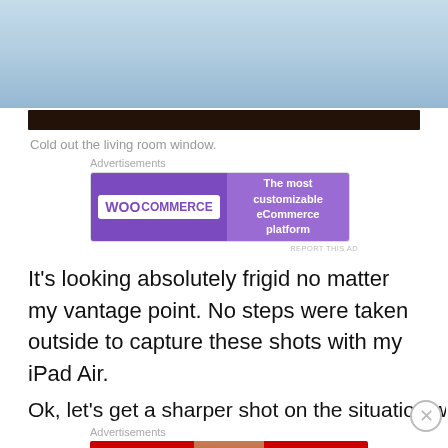[Figure (photo): Photo of a sky view through a living room window, showing a pale blue sky and the dark window frame bar at the bottom.]
Cold out the living room window.
[Figure (screenshot): WooCommerce advertisement banner: purple background, WooCommerce logo on left, text 'The most customizable eCommerce platform' on right.]
It's looking absolutely frigid no matter my vantage point. No steps were taken outside to capture these shots with my iPad Air.
Ok, let's get a sharper shot on the situation with the new...
[Figure (screenshot): Macy's advertisement banner: red background with 'KISS BORING LIPS GOODBYE' text, photo of woman's face, SHOP NOW button, and Macy's logo.]